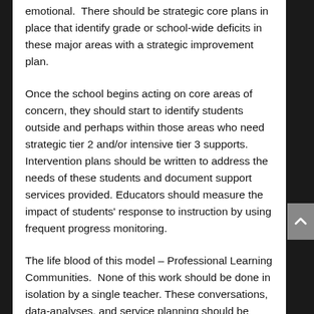emotional.  There should be strategic core plans in place that identify grade or school-wide deficits in these major areas with a strategic improvement plan.
Once the school begins acting on core areas of concern, they should start to identify students outside and perhaps within those areas who need strategic tier 2 and/or intensive tier 3 supports.  Intervention plans should be written to address the needs of these students and document support services provided. Educators should measure the impact of students' response to instruction by using frequent progress monitoring.
The life blood of this model – Professional Learning Communities.  None of this work should be done in isolation by a single teacher. These conversations, data-analyses, and service planning should be done